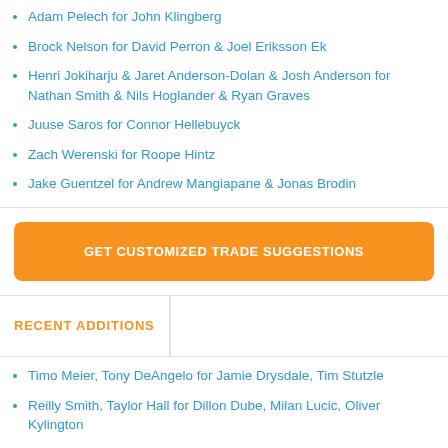Adam Pelech for John Klingberg
Brock Nelson for David Perron & Joel Eriksson Ek
Henri Jokiharju & Jaret Anderson-Dolan & Josh Anderson for Nathan Smith & Nils Hoglander & Ryan Graves
Juuse Saros for Connor Hellebuyck
Zach Werenski for Roope Hintz
Jake Guentzel for Andrew Mangiapane & Jonas Brodin
GET CUSTOMIZED TRADE SUGGESTIONS
RECENT ADDITIONS
Timo Meier, Tony DeAngelo for Jamie Drysdale, Tim Stutzle
Reilly Smith, Taylor Hall for Dillon Dube, Milan Lucic, Oliver Kylington